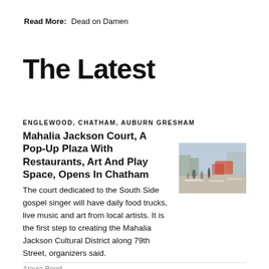Read More:   Dead on Damen
The Latest
ENGLEWOOD, CHATHAM, AUBURN GRESHAM
Mahalia Jackson Court, A Pop-Up Plaza With Restaurants, Art And Play Space, Opens In Chatham
[Figure (photo): Outdoor plaza scene with people on a street, food trucks and activity in the background, blurred motion.]
The court dedicated to the South Side gospel singer will have daily food trucks, live music and art from local artists. It is the first step to creating the Mahalia Jackson Cultural District along 79th Street, organizers said.
Atavia Reed